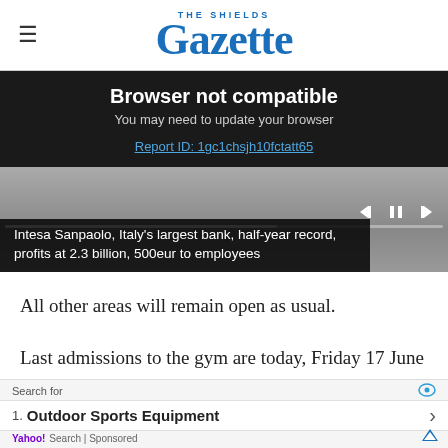THE SHIELDS Gazette
Browser not compatible
You may need to update your browser
Report ID: 1gc1chsjh10fctatt65
[Figure (screenshot): Video player showing Intesa Sanpaolo news clip with caption: Intesa Sanpaolo, Italy's largest bank, half-year record, profits at 2.3 billion, 500eur to employees]
All other areas will remain open as usual.
Last admissions to the gym are today, Friday 17 June
Search for
1. Outdoor Sports Equipment
Yahoo! Search | Sponsored